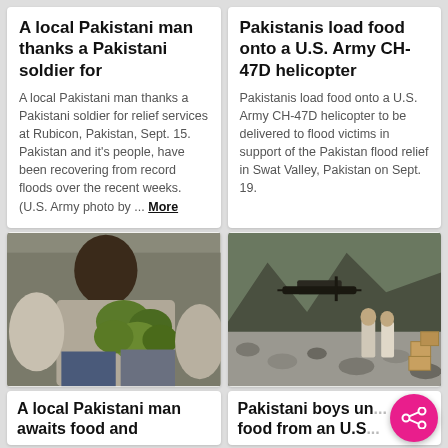A local Pakistani man thanks a Pakistani soldier for
A local Pakistani man thanks a Pakistani soldier for relief services at Rubicon, Pakistan, Sept. 15. Pakistan and it's people, have been recovering from record floods over the recent weeks. (U.S. Army photo by ... More
Pakistanis load food onto a U.S. Army CH-47D helicopter
Pakistanis load food onto a U.S. Army CH-47D helicopter to be delivered to flood victims in support of the Pakistan flood relief in Swat Valley, Pakistan on Sept. 19.
[Figure (photo): Person holding green vegetables/cabbages, seated]
[Figure (photo): Pakistani boys and helicopter on rocky riverbed, Swat Valley]
A local Pakistani man awaits food and
Pakistani boys un... food from an U.S...